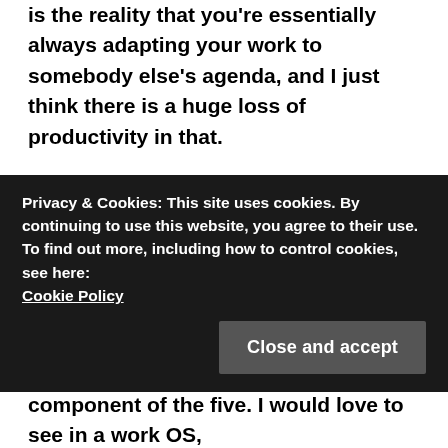is the reality that you're essentially always adapting your work to somebody else's agenda, and I just think there is a huge loss of productivity in that.
I would even argue that the control of distractions would be as essential a component to a work OS, as privacy controls are in many other types of software. I need to be put in charge of defining what's needed for me to be most productive, and the OS just seamlessly need to comply with that, once I have configured it. Putting some ML on top could allow to suggest adjustments to my configurations based on how I
Privacy & Cookies: This site uses cookies. By continuing to use this website, you agree to their use.
To find out more, including how to control cookies, see here: Cookie Policy
component of the five. I would love to see in a work OS,